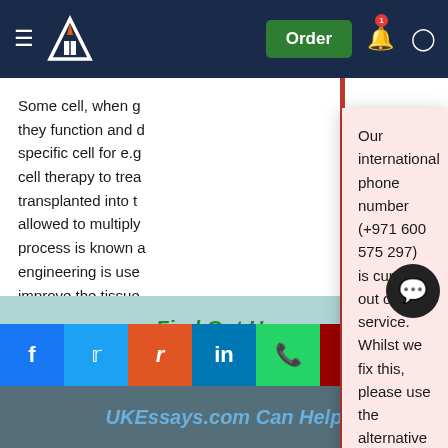UKEssays header with hamburger menu, logo, Order button, notification bell, and user icon
Some cell, when g... they function and d... specific cell for e.g... cell therapy to trea... transplanted into t... allowed to multiply... process is known a... engineering is use... improve the tissue... Alzheimer, Parkins... are most of the time cured using tissue engineering.
Our international phone number (+971 600 575 297) is currently out of service. Whilst we fix this, please use the alternative phone numbers provided on the contact page, message through your customer account or click the WhatsApp button from your mobile (Monday – Friday 9am – 5pm, Saturday 10am – 6pm UK time).
August 20, 2022
Find Out How
UKEssays.com Can Help